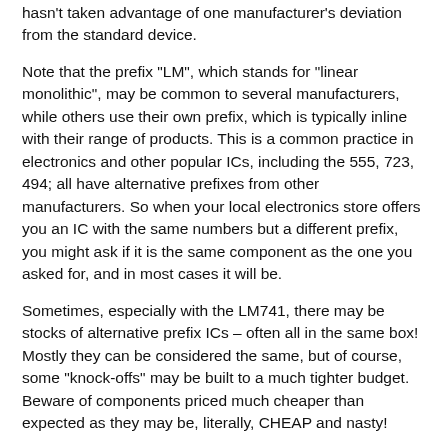hasn't taken advantage of one manufacturer's deviation from the standard device.
Note that the prefix "LM", which stands for "linear monolithic", may be common to several manufacturers, while others use their own prefix, which is typically inline with their range of products. This is a common practice in electronics and other popular ICs, including the 555, 723, 494; all have alternative prefixes from other manufacturers. So when your local electronics store offers you an IC with the same numbers but a different prefix, you might ask if it is the same component as the one you asked for, and in most cases it will be.
Sometimes, especially with the LM741, there may be stocks of alternative prefix ICs – often all in the same box! Mostly they can be considered the same, but of course, some "knock-offs" may be built to a much tighter budget. Beware of components priced much cheaper than expected as they may be, literally, CHEAP and nasty!
The LM741 power supply is typically +/-22V. Some may say +/-30V, but in this instance you can assume a different measuring definition, such as low ambient temperature, low power or similar. A good, and safe voltage would be a maximum of +/-18V, although